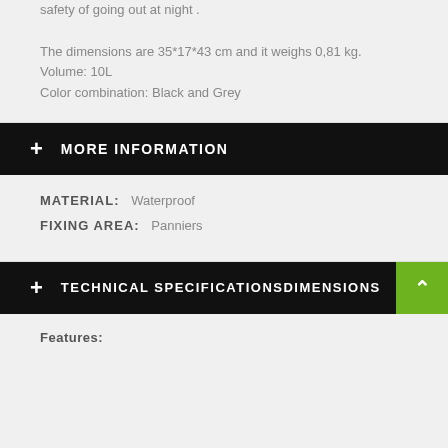safety of going out at night .

The dimensions are 35*17*43 cm and it weighs 0,81 kg.
Volume: 10L
Color combination: Black and Grey
+ MORE INFORMATION
MATERIAL: Waterproof
FIXING AREA: Panniers
+ TECHNICAL SPECIFICATIONSDIMENSIONS
Features: